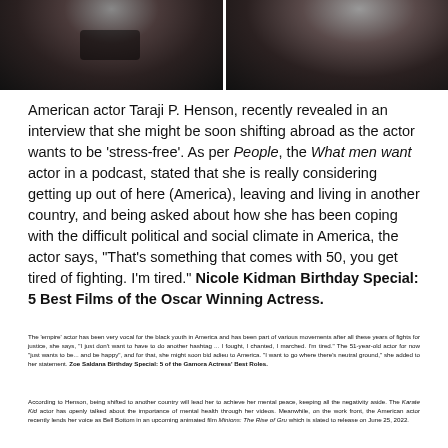[Figure (photo): Two photos of women in dark clothing, side by side, cropped to show face/neck area on dark background]
American actor Taraji P. Henson, recently revealed in an interview that she might be soon shifting abroad as the actor wants to be 'stress-free'. As per People, the What men want actor in a podcast, stated that she is really considering getting up out of here (America), leaving and living in another country, and being asked about how she has been coping with the difficult political and social climate in America, the actor says, "That's something that comes with 50, you get tired of fighting. I'm tired." Nicole Kidman Birthday Special: 5 Best Films of the Oscar Winning Actress.
The 'empire' actor has been very vocal for the black youth in America and has been part of various movements after all these years of fights for justice, she says, "I just don't want to have to do another hashtag ... I fought, I chanted, I marched. I'm tired." The 51-year-old actor for now "just wants to be... and be happy", and for that, she might soon bid adieu to America. "I want to go where there's neutral ground," she added to her statement. Zoe Saldana Birthday Special: 5 of the Gamora Actress' Best Roles.
According to Henson, being shifted to another country will lead her to achieve her mental peace, keeping all the negativity aside. The Karate Kid actor has openly talked about the importance of mental health through her videos. Meanwhile, on the work front, the American actor recently lends her voice as Bell Bottom in an upcoming animated film Minions: The Rise of Gru which is slated to release on June 25, 2022.